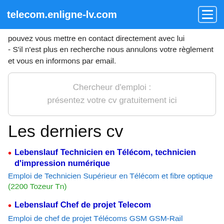telecom.enligne-lv.com
pouvez vous mettre en contact directement avec lui - S'il n'est plus en recherche nous annulons votre règlement et vous en informons par email.
Chercheur d'emploi : présentez votre cv gratuitement ici
Les derniers cv
Lebenslauf Technicien en Télécom, technicien d'impression numérique
Emploi de Technicien Supérieur en Télécom et fibre optique
(2200 Tozeur Tn)
Lebenslauf Chef de projet Telecom
Emploi de chef de projet Télécoms GSM GSM-Rail